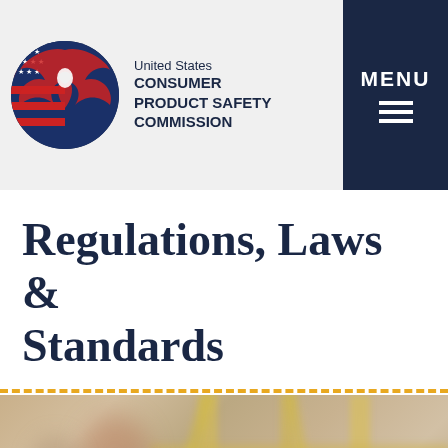United States CONSUMER PRODUCT SAFETY COMMISSION
Regulations, Laws & Standards
[Figure (photo): Blurred background photo showing what appears to be shelving or a window frame with yellow/gold structural elements, suggesting a home or retail setting.]